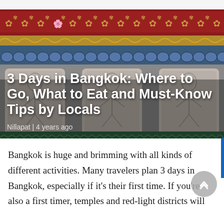[Figure (photo): Thai temple wall with ornate decorations: red border with gold floral motifs at top, blue decorative band, and stone/marble relief panels depicting figures in traditional Thai style. Three carved figures are visible on the lower stone panels.]
3 Days in Bangkok: Where to Go, What to Eat and Must-Know Tips by Locals
Nillapat | 4 years ago
Bangkok is huge and brimming with all kinds of different activities. Many travelers plan 3 days in Bangkok, especially if it's their first time. If you're also a first timer, temples and red-light districts will